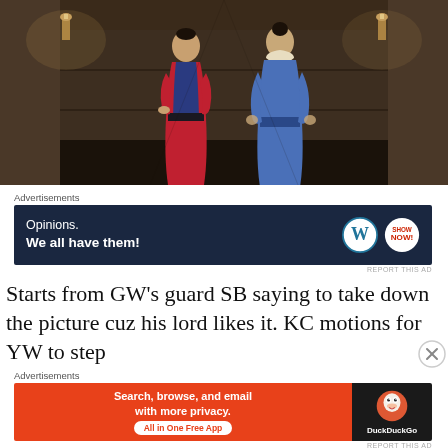[Figure (photo): Two people dressed in traditional Korean/historical costume walking down a dimly lit corridor. The person on the left wears a red robe, the person on the right wears blue. Warm wall sconces illuminate the hallway.]
Advertisements
[Figure (infographic): Advertisement banner with dark navy background. Left side reads 'Opinions. We all have them!' Right side shows WordPress logo and another circular logo.]
REPORT THIS AD
Starts from GW’s guard SB saying to take down the picture cuz his lord likes it. KC motions for YW to step
Advertisements
[Figure (infographic): Advertisement banner split in two. Left side is orange with text 'Search, browse, and email with more privacy. All in One Free App'. Right side is dark with DuckDuckGo logo and text.]